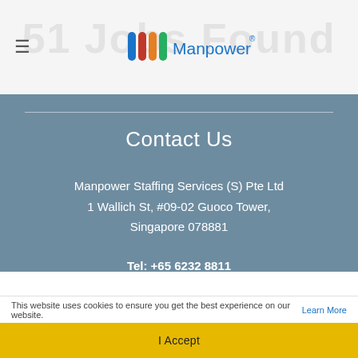[Figure (logo): Manpower logo with hamburger menu icon in header bar]
Contact Us
Manpower Staffing Services (S) Pte Ltd
1 Wallich St, #09-02 Guoco Tower,
Singapore 078881
Tel: +65 6232 8811
Email: marketing@manpowergroup.com.sg
Business Registration No.: 199505951H
EA License No.: 02C3423
This website uses cookies to ensure you get the best experience on our website. Learn More
I Accept